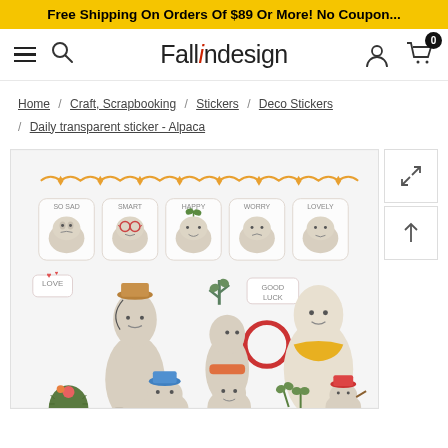Free Shipping On Orders Of $89 Or More! No Coupon...
[Figure (screenshot): Fallindesign website navigation bar with hamburger menu, search icon, Fallindesign logo, user icon, and cart icon with badge showing 0]
Home / Craft, Scrapbooking / Stickers / Deco Stickers / Daily transparent sticker - Alpaca
[Figure (photo): Product image of alpaca-themed transparent sticker sheet showing various cute alpaca characters with labels like 'So Sad', 'Smart', 'Happy', 'Worry', 'Lovely', 'Love', 'Good Luck', along with cactus and plant decorative elements on a light background]